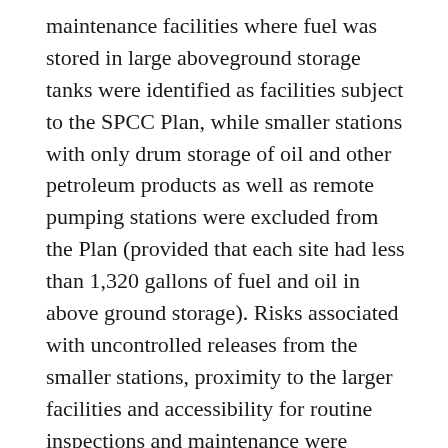maintenance facilities where fuel was stored in large aboveground storage tanks were identified as facilities subject to the SPCC Plan, while smaller stations with only drum storage of oil and other petroleum products as well as remote pumping stations were excluded from the Plan (provided that each site had less than 1,320 gallons of fuel and oil in above ground storage). Risks associated with uncontrolled releases from the smaller stations, proximity to the larger facilities and accessibility for routine inspections and maintenance were considerations in delineating the boundaries of the regulated vs. non-regulated facilities.
We're not suggesting that operators ought to